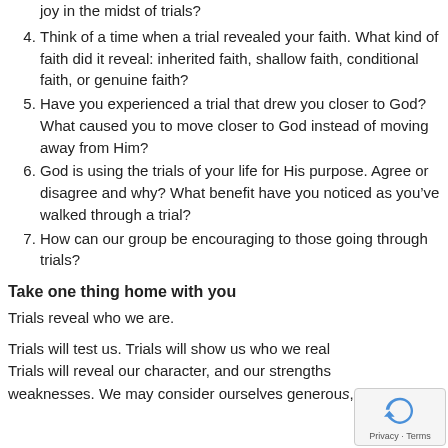joy in the midst of trials?
4. Think of a time when a trial revealed your faith. What kind of faith did it reveal: inherited faith, shallow faith, conditional faith, or genuine faith?
5. Have you experienced a trial that drew you closer to God? What caused you to move closer to God instead of moving away from Him?
6. God is using the trials of your life for His purpose. Agree or disagree and why? What benefit have you noticed as you’ve walked through a trial?
7. How can our group be encouraging to those going through trials?
Take one thing home with you
Trials reveal who we are.
Trials will test us. Trials will show us who we really are. Trials will reveal our character, and our strengths and weaknesses. We may consider ourselves generous,